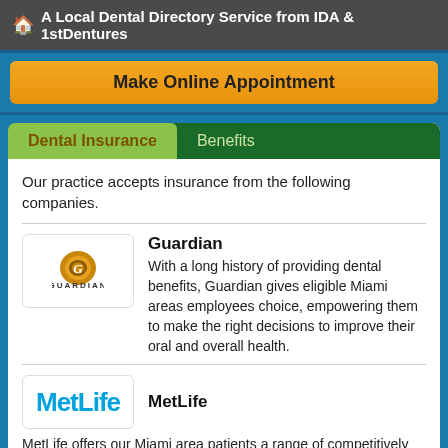A Local Dental Directory Service from IDA & 1stDentures
[Figure (screenshot): Make Online Appointment orange button]
Dental Insurance | Benefits
Our practice accepts insurance from the following companies.
[Figure (logo): Guardian insurance logo with gold circular G emblem and GUARDIAN text]
Guardian
With a long history of providing dental benefits, Guardian gives eligible Miami areas employees choice, empowering them to make the right decisions to improve their oral and overall health.
[Figure (logo): MetLife logo in blue bold text]
MetLife
MetLife offers our Miami area patients a range of competitively priced dental insurance benefits plans for companies of all sizes.